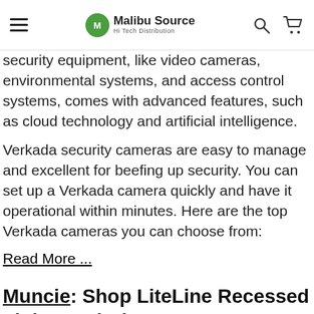Malibu Source Hi Tech Distribution
security equipment, like video cameras, environmental systems, and access control systems, comes with advanced features, such as cloud technology and artificial intelligence.

Verkada security cameras are easy to manage and excellent for beefing up security. You can set up a Verkada camera quickly and have it operational within minutes. Here are the top Verkada cameras you can choose from:
Read More ...
Muncie: Shop LiteLine Recessed Lights and Dimmers
Specials on LiteLine Switches and Controllers in 47303